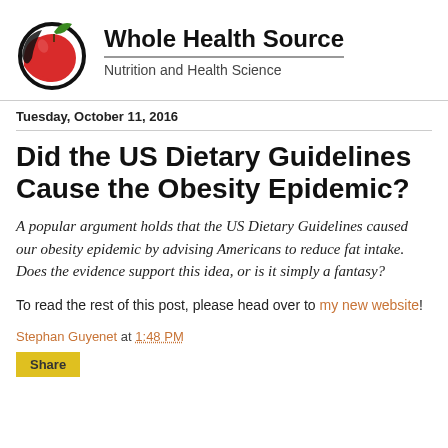[Figure (logo): Whole Health Source logo: a red apple with a green leaf and a black circular outline, partially overlapping]
Whole Health Source
Nutrition and Health Science
Tuesday, October 11, 2016
Did the US Dietary Guidelines Cause the Obesity Epidemic?
A popular argument holds that the US Dietary Guidelines caused our obesity epidemic by advising Americans to reduce fat intake.  Does the evidence support this idea, or is it simply a fantasy?
To read the rest of this post, please head over to my new website!
Stephan Guyenet at 1:48 PM
Share